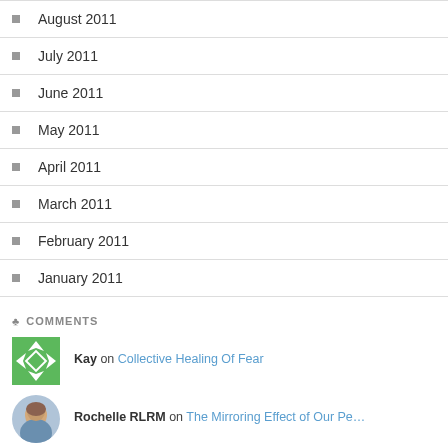August 2011
July 2011
June 2011
May 2011
April 2011
March 2011
February 2011
January 2011
COMMENTS
Kay on Collective Healing Of Fear
[Figure (photo): Green avatar with white arrow/diamond pattern]
Rochelle RLRM on The Mirroring Effect of Our Pe…
[Figure (photo): Circular photo avatar of a person]
Obong eno on Beautifully Imperfect in Our P…
[Figure (photo): Photo avatar of a person in patterned clothing]